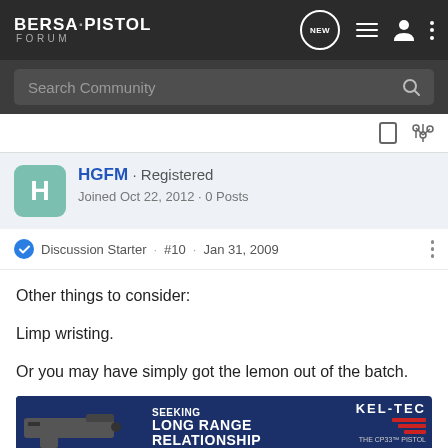BERSA·PISTOL FORUM
Search Community
HGFM · Registered
Joined Oct 22, 2012 · 0 Posts
Discussion Starter · #10 · Jan 31, 2009
Other things to consider:
Limp wristing.
Or you may have simply got the lemon out of the batch.
[Figure (photo): Advertisement banner: Kel-Tec CP33 pistol with text SEEKING LONG RANGE RELATIONSHIP]
Sounds [...]willing to tick...